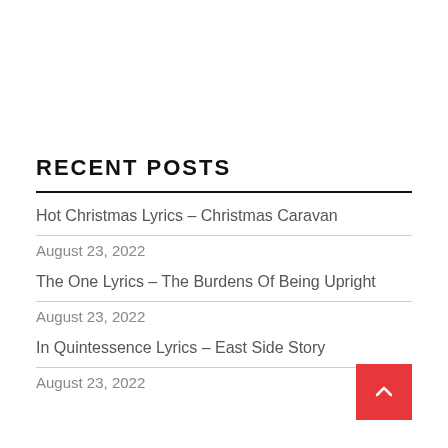RECENT POSTS
Hot Christmas Lyrics – Christmas Caravan
August 23, 2022
The One Lyrics – The Burdens Of Being Upright
August 23, 2022
In Quintessence Lyrics – East Side Story
August 23, 2022